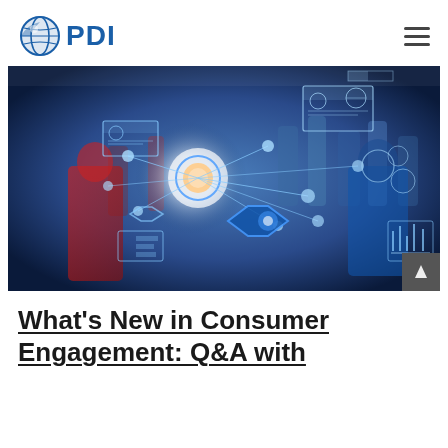[Figure (logo): PDI logo with globe icon and blue PDI text]
[Figure (photo): Technology and digital consumer engagement concept image showing a person with holographic digital interface overlays, network nodes, and futuristic HUD displays in blue and white tones]
What's New in Consumer Engagement: Q&A with